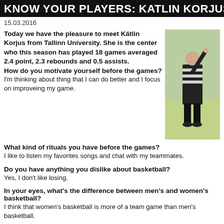KNOW YOUR PLAYERS: KATLIN KORJUS – TALLINN UNI
15.03.2016
Today we have the pleasure to meet Kätlin Korjus from Tallinn University. She is the center who this season has played 18 games averaged 2.4 point, 2.3 rebounds and 0.5 assists.
How do you motivate yourself before the games?
I'm thinking about thing that I can do better and I focus on improveing my game.
[Figure (photo): Basketball referee in black and white striped shirt raising one hand on a court]
What kind of rituals you have before the games?
I like to listen my favorites songs and chat with my teammates.
Do you have anything you dislike about basketball?
Yes, I don't like losing.
In your eyes, what's the difference between men's and women's basketball?
I think that women's basketball is more of a team game than men's basketball.
Have you done any other sports besides basketball?
In the elementary school I liked to dance and tried athletics also but it wasn't as fun
Tell us something about you
I like walking with my dog. I like to cook for my family.